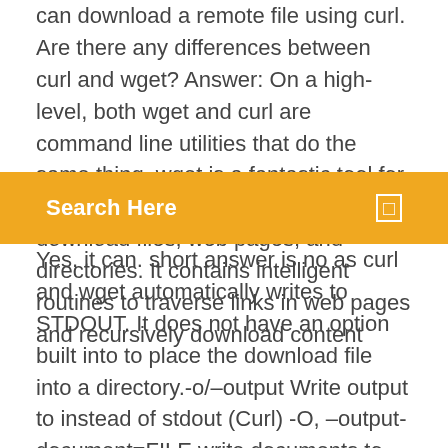can download a remote file using curl. Are there any differences between curl and wget? Answer: On a high-level, both wget and curl are command line utilities that do the same thing. wget is a fantastic tool for downloading content and files. It can download files, web pages, and directories. It contains intelligent routines to traverse links in web pages and recursively download content
Search Here
Yes, it can. short answer is no as curl and wget automatically writes to STDOUT. It does not have an option built into to place the download file into a directory.-o/–output Write output to instead of stdout (Curl) -O, –output-document=FILE write documents to FILE. (WGet) If you want to download files on your Linux or Unix system, wget and curl are your main options. Wget. Wget is a free GNU command line utility for non-interactive download of files from any web location. wget supports HTTP, HTTPS, and FTP protocols.In addition wget also supports retrieval through HTTP proxies. Wget syntex